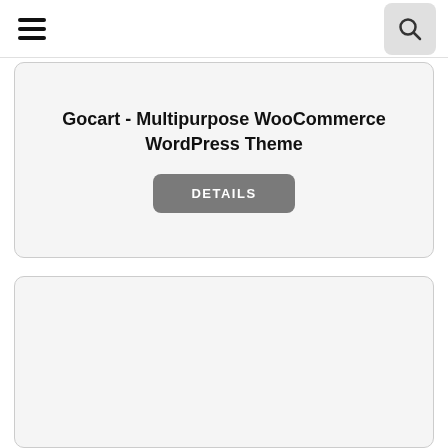Navigation header with hamburger menu and search button
Gocart - Multipurpose WooCommerce WordPress Theme
DETAILS
[Figure (other): Empty card/panel placeholder at bottom of page]